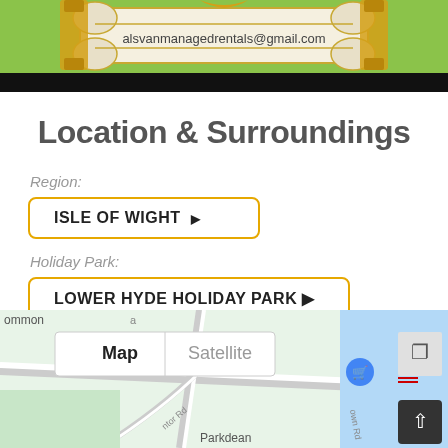[Figure (illustration): Decorative banner/scroll with golden ornaments at corners and email address alsvanmanagedrentals@gmail.com on a ribbon. Green background with black bar at bottom.]
Location & Surroundings
Region:
ISLE OF WIGHT ▶
Holiday Park:
LOWER HYDE HOLIDAY PARK ▶
[Figure (map): Google Map showing Lower Hyde Holiday Park area on Isle of Wight with Map/Satellite toggle, A3056 road label, Parkdean text, location pin, and expand button.]